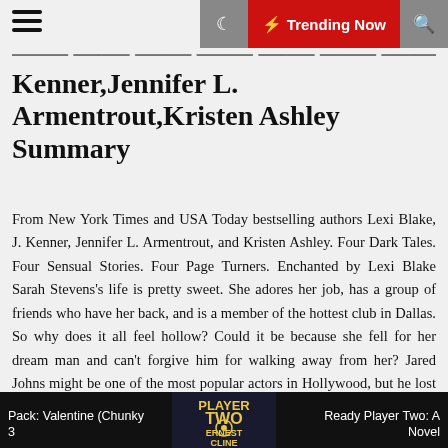Trending Now
Kenner,Jennifer L. Armentrout,Kristen Ashley Summary
From New York Times and USA Today bestselling authors Lexi Blake, J. Kenner, Jennifer L. Armentrout, and Kristen Ashley. Four Dark Tales. Four Sensual Stories. Four Page Turners. Enchanted by Lexi Blake Sarah Stevens's life is pretty sweet. She adores her job, has a group of friends who have her back, and is a member of the hottest club in Dallas. So why does it all feel hollow? Could it be because she fell for her dream man and can't forgive him for walking away from her? Jared Johns might be one of the most popular actors in Hollywood, but he lost more than a fan when he walked away from Sarah. He lost the only woman he's ever loved. He's been trying to get her back, but she won't return his calls. A trip to Dallas to visit his brother might be exactly what he needs to jump start his quest to claim the woman who holds his heart.
Pack: Valentine (Chunky 3 | Ready Player Two: A Novel